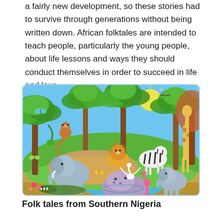a fairly new development, so these stories had to survive through generations without being written down. African folktales are intended to teach people, particularly the young people, about life lessons and ways they should conduct themselves in order to succeed in life and love.
[Figure (illustration): Colorful cartoon illustration of African jungle scene with various animals including elephants, lion, monkey, giraffe, zebra, hippopotamus, crocodile, flamingo, birds, and butterflies surrounded by palm trees and tropical vegetation.]
Folk tales from Southern Nigeria